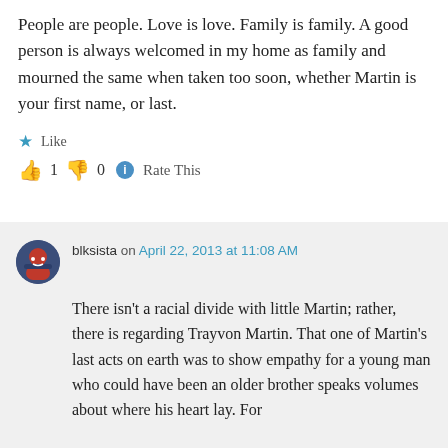People are people. Love is love. Family is family. A good person is always welcomed in my home as family and mourned the same when taken too soon, whether Martin is your first name, or last.
★ Like
👍 1 👎 0 ℹ Rate This
blksista on April 22, 2013 at 11:08 AM
There isn't a racial divide with little Martin; rather, there is regarding Trayvon Martin. That one of Martin's last acts on earth was to show empathy for a young man who could have been an older brother speaks volumes about where his heart lay. For